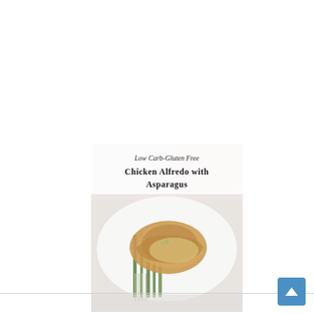[Figure (photo): Food photo of Low Carb Gluten Free Chicken Alfredo with Asparagus — a dish of seared chicken with asparagus on a white plate, with a white semi-transparent text overlay at the top reading 'Low Carb-Gluten Free Chicken Alfredo with Asparagus'. The image continues below a horizontal divider line, showing the bottom portion of the dish on the plate. A blue scroll-to-top button with an upward arrow is visible in the bottom-right corner of the page.]